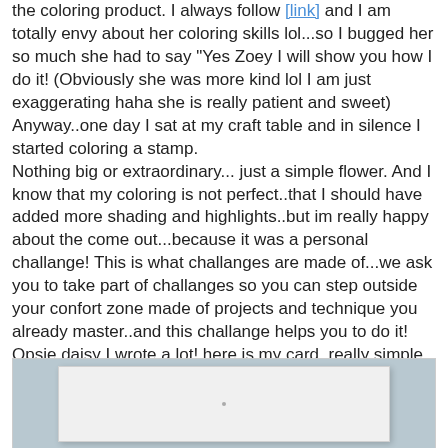the coloring product. I always follow [link] and I am totally envy about her coloring skills lol...so I bugged her so much she had to say "Yes Zoey I will show you how I do it! (Obviously she was more kind lol I am just exaggerating haha she is really patient and sweet) Anyway..one day I sat at my craft table and in silence I started coloring a stamp. Nothing big or extraordinary... just a simple flower. And I know that my coloring is not perfect..that I should have added more shading and highlights..but im really happy about the come out...because it was a personal challange! This is what challanges are made of...we ask you to take part of challanges so you can step outside your confort zone made of projects and technique you already master..and this challange helps you to do it! Opsie daisy I wrote a lot! here is my card..really simple and definitely so not my "style". What do you think about it?)
[Figure (photo): Photo of a simple handmade card on a blue-gray background, showing a white/light card with minimal decoration.]